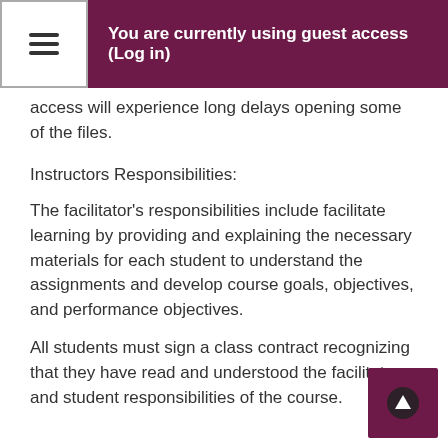You are currently using guest access (Log in)
access will experience long delays opening some of the files.
Instructors Responsibilities:
The facilitator's responsibilities include facilitate learning by providing and explaining the necessary materials for each student to understand the assignments and develop course goals, objectives, and performance objectives.
All students must sign a class contract recognizing that they have read and understood the facilitator and student responsibilities of the course.